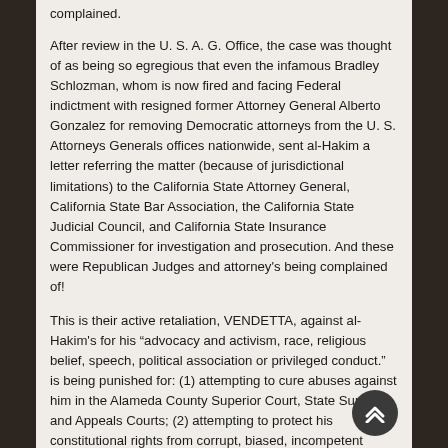complained.
After review in the U. S. A. G. Office, the case was thought of as being so egregious that even the infamous Bradley Schlozman, whom is now fired and facing Federal indictment with resigned former Attorney General Alberto Gonzalez for removing Democratic attorneys from the U. S. Attorneys Generals offices nationwide, sent al-Hakim a letter referring the matter (because of jurisdictional limitations) to the California State Attorney General, California State Bar Association, the California State Judicial Council, and California State Insurance Commissioner for investigation and prosecution. And these were Republican Judges and attorney's being complained of!
This is their active retaliation, VENDETTA, against al-Hakim's for his “advocacy and activism, race, religious belief, speech, political association or privileged conduct.” is being punished for: (1) attempting to cure abuses against him in the Alameda County Superior Court, State Supreme and Appeals Courts; (2) attempting to protect his constitutional rights from corrupt, biased, incompetent judges acting in concert with unscrupulous judicial, law enforcement, governmental and legal entities illegally utilizing the full force and resources of the government in a covert criminal undercover sting operation; (3) exercising his right of free speech in making the above attempts and exposing the corruption; (4) exposing the